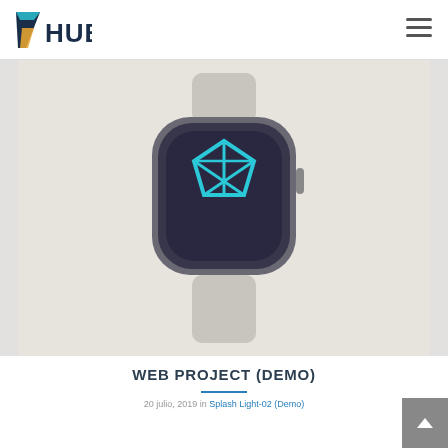[Figure (logo): 7HUB logo with stylized 7 in cyan/yellow and HUB in dark navy bold text]
[Figure (photo): Apple Watch mockup with dark screen showing a cyan geometric pentagon/crystal logo on a light gray background]
WEB PROJECT (DEMO)
20 julio, 2019 in Splash Light-02 (Demo)